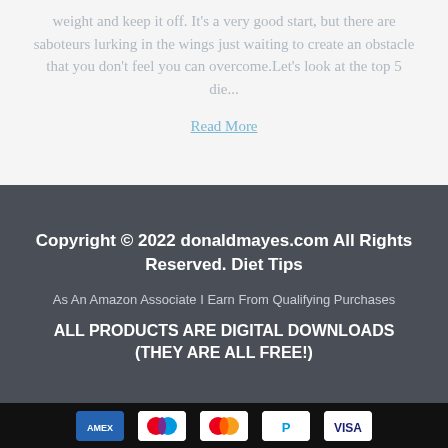weight and keep it off. It's a very good start, but there are saboteurs lurking in the wings just waiting to create an obstacle that you don't feel you can overcome.Let's look at the top 5 die...
Read More
Copyright © 2022 donaldmayes.com All Rights Reserved. Diet Tips
As An Amazon Associate I Earn From Qualifying Purchases
ALL PRODUCTS ARE DIGITAL DOWNLOADS (THEY ARE ALL FREE!)
[Figure (other): Payment method icons: American Express (AMEX), Maestro, Mastercard, PayPal, Visa]